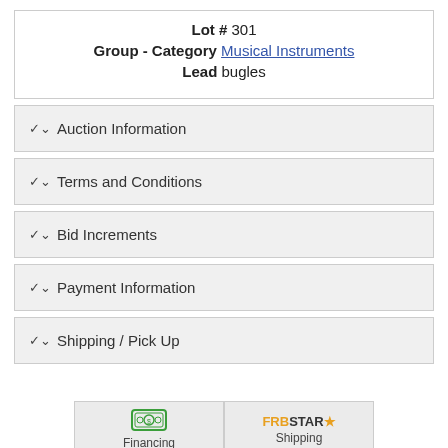Lot # 301
Group - Category Musical Instruments
Lead bugles
Auction Information
Terms and Conditions
Bid Increments
Payment Information
Shipping / Pick Up
[Figure (other): Financing card with money icon]
[Figure (other): Shipping card with FRBStar logo]